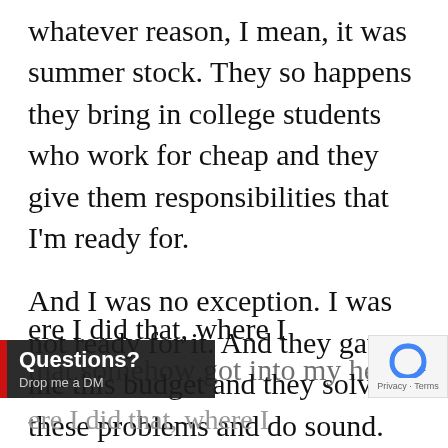whatever reason, I mean, it was summer stock. They so happens they bring in college students who work for cheap and they give them responsibilities that I'm ready for.
And I was no exception. I was not ready for it. And they gave me this budget and they solve these problems and do sound. And, you know, I remember a couple of scenarios that those couple of [whe]re I did that, where I [that somehow] got into my head, that
[Figure (other): Questions? Drop me a DM — dark overlay bar with red accent and white text, partially overlapping the body text at bottom left]
[Figure (logo): Google reCAPTCHA badge with blue circular arrow logo and 'Privacy · Terms' text, bottom right corner]